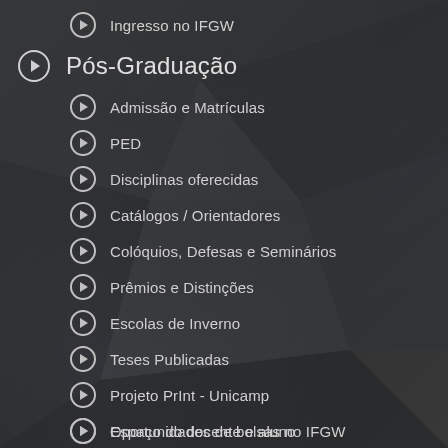Ingresso no IFGW
Pós-Graduação
Admissão e Matrículas
PED
Disciplinas oferecidas
Catálogos / Orientadores
Colóquios, Defesas e Seminários
Prêmios e Distinções
Escolas de Inverno
Teses Publicadas
Projeto PrInt - Unicamp
Espaço do docente e aluno
Oportunidades de bolsas no IFGW